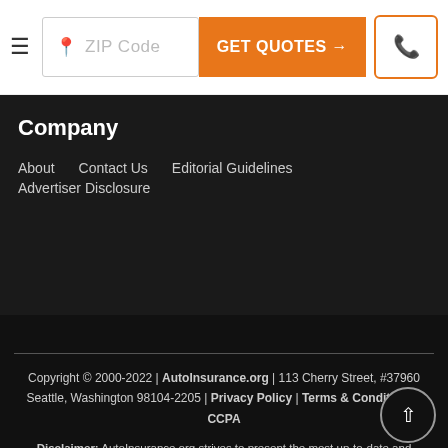ZIP Code | GET QUOTES → | phone icon
Company
About
Contact Us
Editorial Guidelines
Advertiser Disclosure
Copyright © 2000-2022 | AutoInsurance.org | 113 Cherry Street, #37960 Seattle, Washington 98104-2205 | Privacy Policy | Terms & Conditions | CCPA

Disclaimer: AutoInsurance.org strives to present the most up-to-date and comprehensive information on saving money on car insurance possible. This information may be different than what you see when you visit an insurance provider, insurance agency, or insurance company website. All insurance rates, products, and services are presented without warranty and guarantee. When evaluating rates,